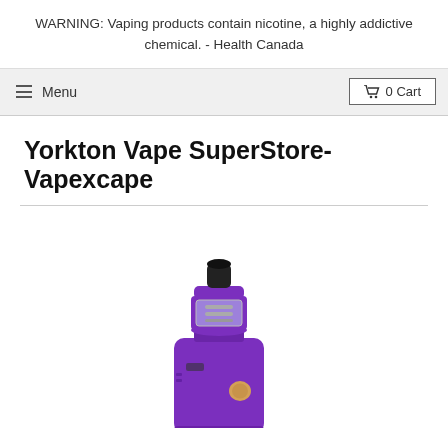WARNING: Vaping products contain nicotine, a highly addictive chemical. - Health Canada
≡ Menu   🛒 0 Cart
Yorkton Vape SuperStore-Vapexcape
[Figure (photo): Purple vape mod kit with sub-ohm tank, showing a box mod device in purple color with gold accent button and a clear tank atomizer with black drip tip on top.]